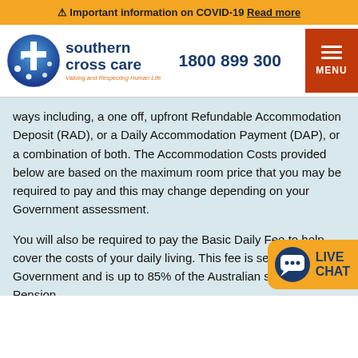⚠ Important information on COVID-19 Read more
[Figure (logo): Southern Cross Care logo with blue circle, cross and stars, orange brand text, phone number 1800 899 300, and red MENU button]
ways including, a one off, upfront Refundable Accommodation Deposit (RAD), or a Daily Accommodation Payment (DAP), or a combination of both. The Accommodation Costs provided below are based on the maximum room price that you may be required to pay and this may change depending on your Government assessment.
You will also be required to pay the Basic Daily Fee to help cover the costs of your daily living. This fee is set by the Government and is up to 85% of the Australian single Age Pension.
Navigating the costs of aged care can be tricky so we recommend talking with our Facility Manager who take you through the payment options. Or call us